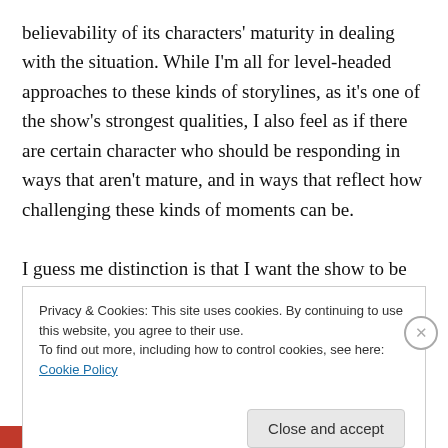believability of its characters' maturity in dealing with the situation. While I'm all for level-headed approaches to these kinds of storylines, as it's one of the show's strongest qualities, I also feel as if there are certain character who should be responding in ways that aren't mature, and in ways that reflect how challenging these kinds of moments can be.

I guess me distinction is that I want the show to be challenging as opposed to challenged, and while the revonation of Carroll Park naturally fit into the first
Privacy & Cookies: This site uses cookies. By continuing to use this website, you agree to their use.
To find out more, including how to control cookies, see here: Cookie Policy